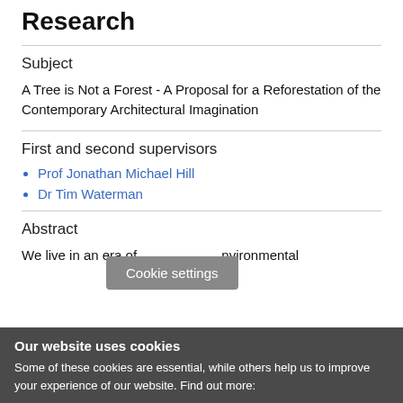Research
Subject
A Tree is Not a Forest - A Proposal for a Reforestation of the Contemporary Architectural Imagination
First and second supervisors
Prof Jonathan Michael Hill
Dr Tim Waterman
Abstract
We live in an era of [Cookie settings] nvironmental
Our website uses cookies
Some of these cookies are essential, while others help us to improve your experience of our website. Find out more: